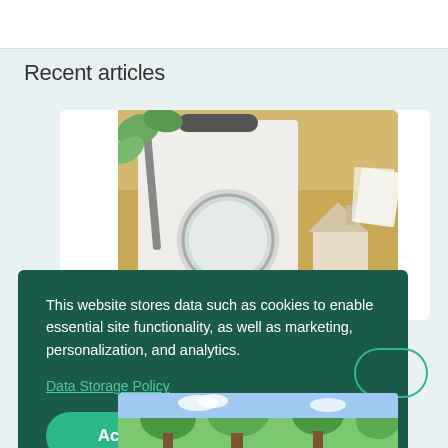Recent articles
[Figure (photo): Photo showing a clipboard, a magnifying glass, a small house model, and documents on a desk — insurance/home inspection theme]
This website stores data such as cookies to enable essential site functionality, as well as marketing, personalization, and analytics.
Data Storage Policy
Accept
Deny
[Figure (photo): Photo showing trees and blue sky — outdoor/nature scene]